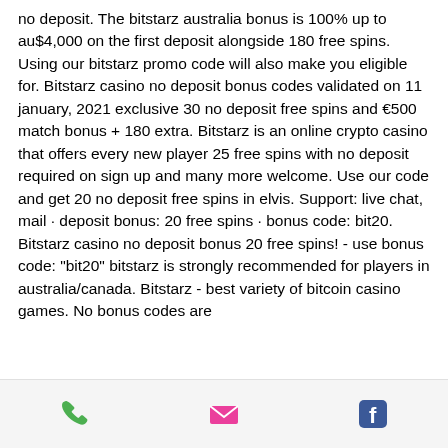no deposit. The bitstarz australia bonus is 100% up to au$4,000 on the first deposit alongside 180 free spins. Using our bitstarz promo code will also make you eligible for. Bitstarz casino no deposit bonus codes validated on 11 january, 2021 exclusive 30 no deposit free spins and €500 match bonus + 180 extra. Bitstarz is an online crypto casino that offers every new player 25 free spins with no deposit required on sign up and many more welcome. Use our code and get 20 no deposit free spins in elvis. Support: live chat, mail · deposit bonus: 20 free spins · bonus code: bit20. Bitstarz casino no deposit bonus 20 free spins! - use bonus code: &quot;bit20&quot; bitstarz is strongly recommended for players in australia/canada. Bitstarz - best variety of bitcoin casino games. No bonus codes are
[Figure (other): Mobile app footer bar with three icons: phone (green), email/envelope (pink/red), and Facebook (blue)]